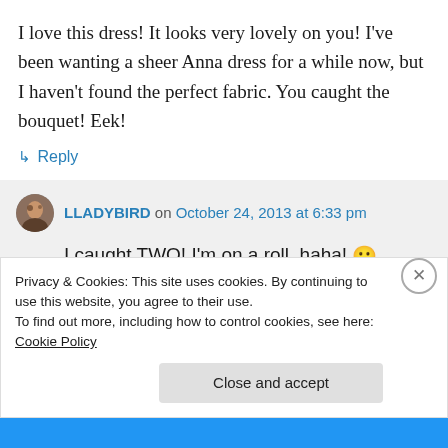I love this dress! It looks very lovely on you! I’ve been wanting a sheer Anna dress for a while now, but I haven’t found the perfect fabric. You caught the bouquet! Eek!
↳ Reply
LLADYBIRD on October 24, 2013 at 6:33 pm
I caught TWO! I’m on a roll, haha! 😀
Privacy & Cookies: This site uses cookies. By continuing to use this website, you agree to their use.
To find out more, including how to control cookies, see here: Cookie Policy
Close and accept